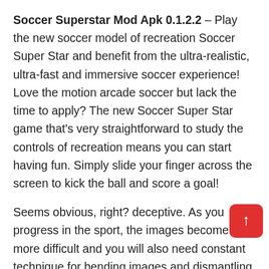Soccer Superstar Mod Apk 0.1.2.2 – Play the new soccer model of recreation Soccer Super Star and benefit from the ultra-realistic, ultra-fast and immersive soccer experience! Love the motion arcade soccer but lack the time to apply? The new Soccer Super Star game that's very straightforward to study the controls of recreation means you can start having fun. Simply slide your finger across the screen to kick the ball and score a goal!
Seems obvious, right? deceptive. As you progress in the sport, the images become more difficult and you will also need constant technique for bending images and dismantling the defenses. Soccer Super Star doesn't get too difficult, yet it keeps a slight improvement on the problem while providing one of the best flicks to k… experience! Be the hero in every match. The idea for